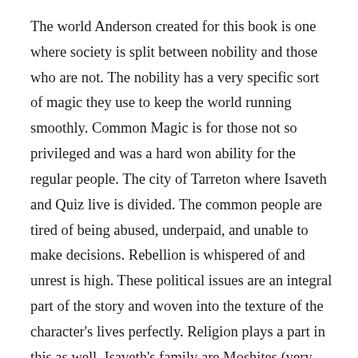The world Anderson created for this book is one where society is split between nobility and those who are not. The nobility has a very specific sort of magic they use to keep the world running smoothly. Common Magic is for those not so privileged and was a hard won ability for the regular people. The city of Tarreton where Isaveth and Quiz live is divided. The common people are tired of being abused, underpaid, and unable to make decisions. Rebellion is whispered of and unrest is high. These political issues are an integral part of the story and woven into the texture of the character's lives perfectly. Religion plays a part in this as well. Isaveth's family are Moshites (very similar to real world Jewish faith) and therefore looked on as outsiders, if not dangerous dissenters. It's part of the reason her father makes such a perfect frame for murder. Anderson presents the religious and political aspects as